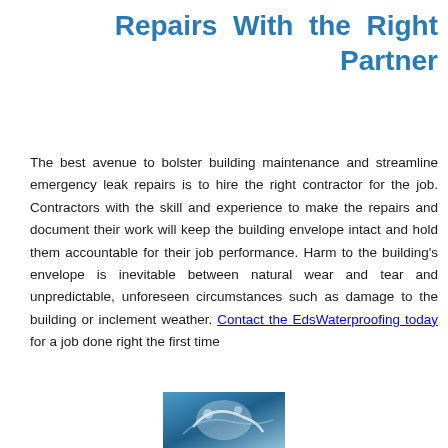Repairs With the Right Partner
The best avenue to bolster building maintenance and streamline emergency leak repairs is to hire the right contractor for the job. Contractors with the skill and experience to make the repairs and document their work will keep the building envelope intact and hold them accountable for their job performance. Harm to the building's envelope is inevitable between natural wear and tear and unpredictable, unforeseen circumstances such as damage to the building or inclement weather. Contact the EdsWaterproofing today for a job done right the first time
[Figure (photo): Partial photo at bottom center showing what appears to be waterproofing or roofing work, with blue and grey tones visible]